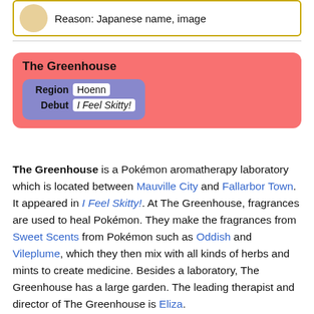Reason: Japanese name, image
|  |  |
| --- | --- |
| Region | Hoenn |
| Debut | I Feel Skitty! |
The Greenhouse
The Greenhouse is a Pokémon aromatherapy laboratory which is located between Mauville City and Fallarbor Town. It appeared in I Feel Skitty!. At The Greenhouse, fragrances are used to heal Pokémon. They make the fragrances from Sweet Scents from Pokémon such as Oddish and Vileplume, which they then mix with all kinds of herbs and mints to create medicine. Besides a laboratory, The Greenhouse has a large garden. The leading therapist and director of The Greenhouse is Eliza.
When Ash and his friends found an ill Skitty, Brock came with the idea to take it to The Greenhouse, which...